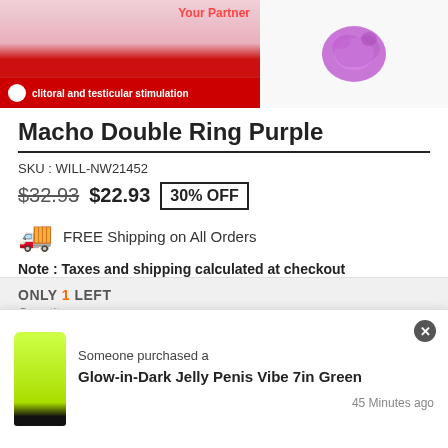[Figure (photo): Product image strip showing two product images: left side shows product packaging with red banner and text 'clitoral and testicular stimulation' and 'Your Partner' in orange, right side shows a purple double ring product]
Macho Double Ring Purple
SKU : WILL-NW21452
$32.93  $22.93  30% OFF
FREE Shipping on All Orders
Note : Taxes and shipping calculated at checkout
ONLY 1 LEFT
Quantity
— 1 +
[Figure (photo): Popup notification showing a yellow-green glow-in-dark jelly penis vibe product with text: Someone purchased a Glow-in-Dark Jelly Penis Vibe 7in Green, 45 Minutes ago]